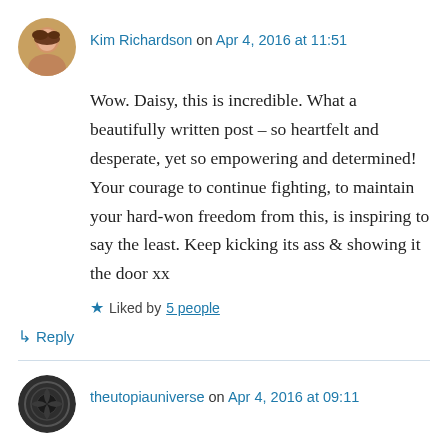[Figure (photo): Circular avatar photo of Kim Richardson, a woman with brown hair]
Kim Richardson on Apr 4, 2016 at 11:51
Wow. Daisy, this is incredible. What a beautifully written post – so heartfelt and desperate, yet so empowering and determined! Your courage to continue fighting, to maintain your hard-won freedom from this, is inspiring to say the least. Keep kicking its ass & showing it the door xx
Liked by 5 people
Reply
[Figure (photo): Circular dark avatar with ornate pattern for theutopiauniverse]
theutopiauniverse on Apr 4, 2016 at 09:11
This is a fabulous letter Daisy, as you say you don't need that old friend, because you now have great new friends who want everything